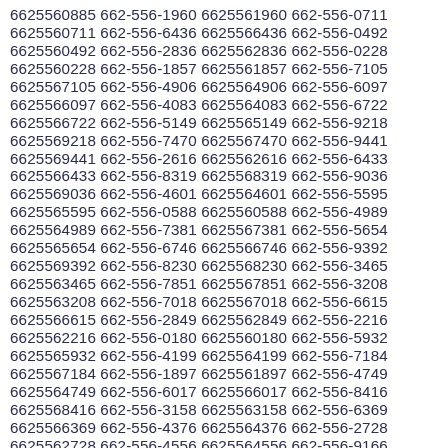6625560885 662-556-1960 6625561960 662-556-0711 6625560711 662-556-6436 6625566436 662-556-0492 6625560492 662-556-2836 6625562836 662-556-0228 6625560228 662-556-1857 6625561857 662-556-7105 6625567105 662-556-4906 6625564906 662-556-6097 6625566097 662-556-4083 6625564083 662-556-6722 6625566722 662-556-5149 6625565149 662-556-9218 6625569218 662-556-7470 6625567470 662-556-9441 6625569441 662-556-2616 6625562616 662-556-6433 6625566433 662-556-8319 6625568319 662-556-9036 6625569036 662-556-4601 6625564601 662-556-5595 6625565595 662-556-0588 6625560588 662-556-4989 6625564989 662-556-7381 6625567381 662-556-5654 6625565654 662-556-6746 6625566746 662-556-9392 6625569392 662-556-8230 6625568230 662-556-3465 6625563465 662-556-7851 6625567851 662-556-3208 6625563208 662-556-7018 6625567018 662-556-6615 6625566615 662-556-2849 6625562849 662-556-2216 6625562216 662-556-0180 6625560180 662-556-5932 6625565932 662-556-4199 6625564199 662-556-7184 6625567184 662-556-1897 6625561897 662-556-4749 6625564749 662-556-6017 6625566017 662-556-8416 6625568416 662-556-3158 6625563158 662-556-6369 6625566369 662-556-4376 6625564376 662-556-2728 6625562728 662-556-4556 6625564556 662-556-9166